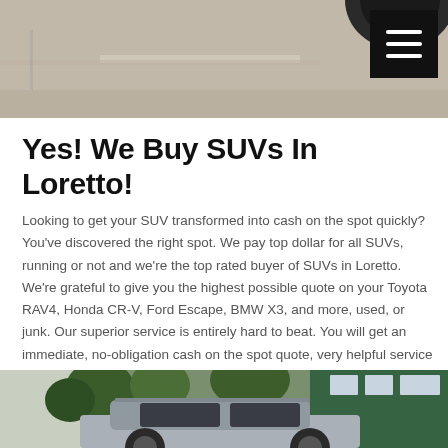[Figure (photo): Top portion of a photo showing a concrete surface with a tire visible at the top right corner, with a dark hamburger menu button overlaid in the top right.]
Yes! We Buy SUVs In Loretto!
Looking to get your SUV transformed into cash on the spot quickly? You've discovered the right spot. We pay top dollar for all SUVs, running or not and we're the top rated buyer of SUVs in Loretto. We're grateful to give you the highest possible quote on your Toyota RAV4, Honda CR-V, Ford Escape, BMW X3, and more, used, or junk. Our superior service is entirely hard to beat. You will get an immediate, no-obligation cash on the spot quote, very helpful service and satisfaction with just one quick call.
[Figure (photo): Bottom portion showing a silver SUV parked in front of a green and white house with palm trees and tropical plants in the background.]